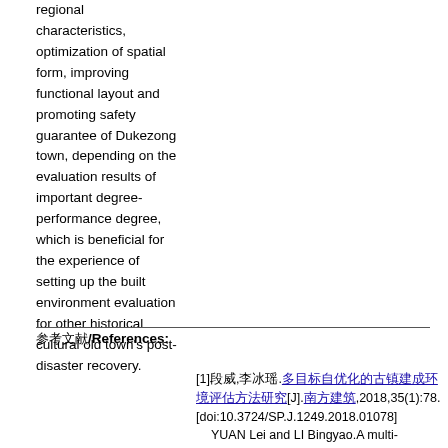regional characteristics, optimization of spatial form, improving functional layout and promoting safety guarantee of Dukezong town, depending on the evaluation results of important degree-performance degree, which is beneficial for the experience of setting up the built environment evaluation for other historical cultural old town's post-disaster recovery.
参考文献/References:
[1]段威,李冰瑶.多目标自优化的古镇建成环境评估方法研究[J].南方建筑,2018,35(1):78.[doi:10.3724/SP.J.1249.2018.01078]
    YUAN Lei and LI Bingyao.A multi-objective auto-optimizing